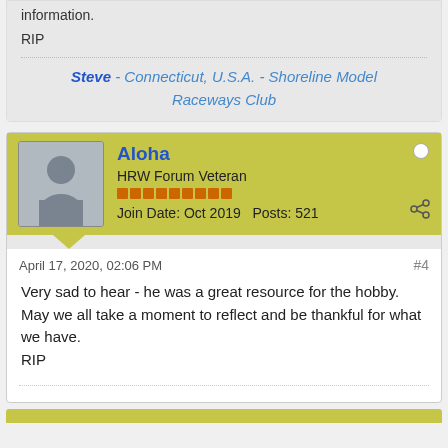information.
RIP
Steve - Connecticut, U.S.A. - Shoreline Model Raceways Club
Aloha
HRW Forum Veteran
Join Date: Oct 2019   Posts: 521
April 17, 2020, 02:06 PM
#4
Very sad to hear - he was a great resource for the hobby. May we all take a moment to reflect and be thankful for what we have.
RIP